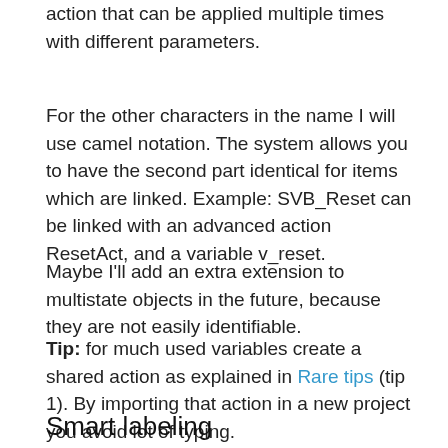action that can be applied multiple times with different parameters.
For the other characters in the name I will use camel notation. The system allows you to have the second part identical for items which are linked. Example: SVB_Reset can be linked with an advanced action ResetAct, and a variable v_reset.
Maybe I'll add an extra extension to multistate objects in the future, because they are not easily identifiable.
Tip: for much used variables create a shared action as explained in Rare tips (tip 1). By importing that action in a new project you avoid lot of typing.
Smart labeling